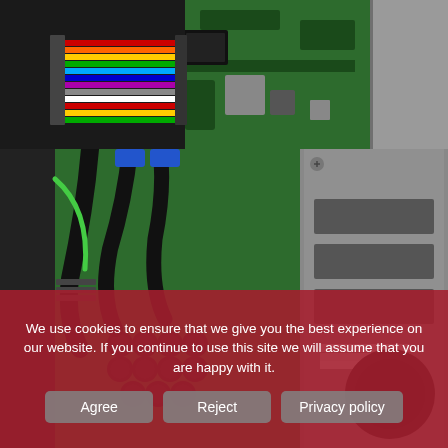[Figure (photo): Close-up photo of a green circuit board (PCB) with a rainbow ribbon cable connector on the left, various chips and components, and a gray metal chassis on the right.]
[Figure (photo): Close-up photo of the inside of a computer case showing a green circuit board with black capacitors and power cables (black and blue wires), alongside a gray metal drive bay with ribbon cables visible.]
We use cookies to ensure that we give you the best experience on our website. If you continue to use this site we will assume that you are happy with it.
Agree | Reject | Privacy policy